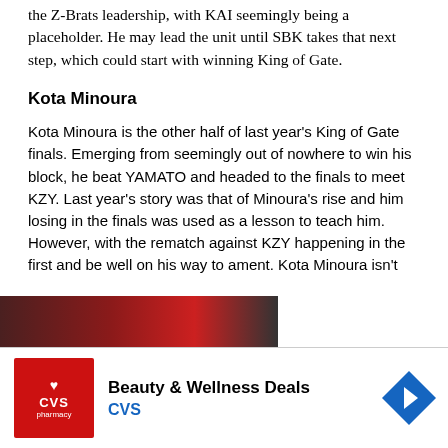the Z-Brats leadership, with KAI seemingly being a placeholder. He may lead the unit until SBK takes that next step, which could start with winning King of Gate.
Kota Minoura
Kota Minoura is the other half of last year's King of Gate finals. Emerging from seemingly out of nowhere to win his block, he beat YAMATO and headed to the finals to meet KZY. Last year's story was that of Minoura's rise and him losing in the finals was used as a lesson to teach him. However, with the rematch against KZY happening in the first and be well on his way to ament. Kota Minoura isn't
[Figure (photo): Video/image overlay showing a person's face with red background, partially covering text]
Beauty & Wellness Deals
CVS